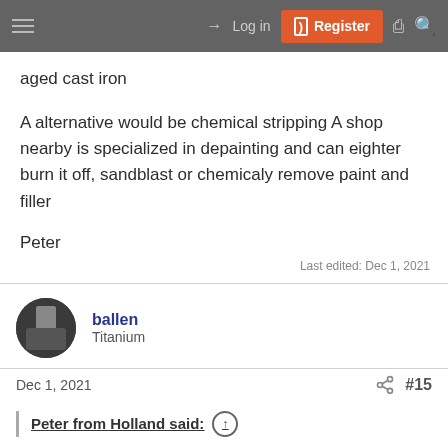Log in | Register
aged cast iron
A alternative would be chemical stripping A shop nearby is specialized in depainting and can eighter burn it off, sandblast or chemicaly remove paint and filler
Peter
Last edited: Dec 1, 2021
ballen
Titanium
Dec 1, 2021   #15
Peter from Holland said: